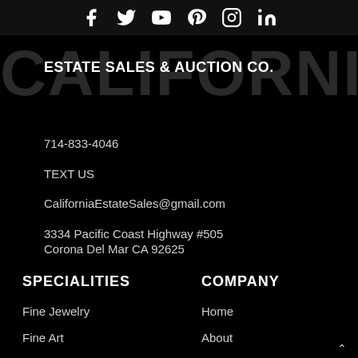[Figure (infographic): Social media icons row: Facebook, Twitter, YouTube, Pinterest, Instagram, LinkedIn]
ESTATE SALES & AUCTION CO.
714-833-4046
TEXT US
CaliforniaEstateSales@gmail.com
3334 Pacific Coast Highway #505
Corona Del Mar CA 92625
SPECIALITIES
Fine Jewelry
Fine Art
COMPANY
Home
About